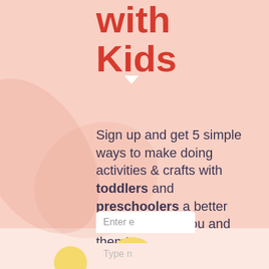with Kids
Sign up and get 5 simple ways to make doing activities & crafts with toddlers and preschoolers a better experience for you and them!
Enter e
Type n